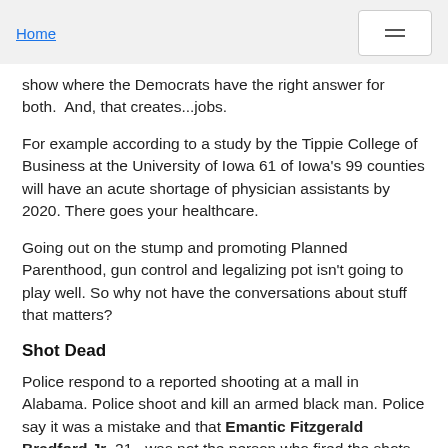Home
show where the Democrats have the right answer for both.  And, that creates...jobs.
For example according to a study by the Tippie College of Business at the University of Iowa 61 of Iowa's 99 counties will have an acute shortage of physician assistants by 2020. There goes your healthcare.
Going out on the stump and promoting Planned Parenthood, gun control and legalizing pot isn't going to play well. So why not have the conversations about stuff that matters?
Shot Dead
Police respond to a reported shooting at a mall in Alabama. Police shoot and kill an armed black man. Police say it was a mistake and that Emantic Fitzgerald Bradford Jr, 21,  was not the person who fired the shots that wounded two others. Alabama police say that Bradford may have been involved in the altercation. And the and that the and should be the committee. The